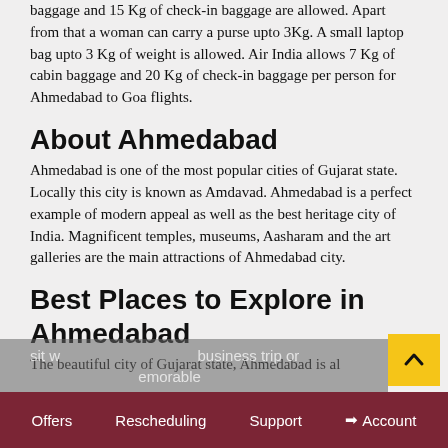baggage and 15 Kg of check-in baggage are allowed. Apart from that a woman can carry a purse upto 3Kg. A small laptop bag upto 3 Kg of weight is allowed. Air India allows 7 Kg of cabin baggage and 20 Kg of check-in baggage per person for Ahmedabad to Goa flights.
About Ahmedabad
Ahmedabad is one of the most popular cities of Gujarat state. Locally this city is known as Amdavad. Ahmedabad is a perfect example of modern appeal as well as the best heritage city of India. Magnificent temples, museums, Aasharam and the art galleries are the main attractions of Ahmedabad city.
Best Places to Explore in Ahmedabad
The beautiful city of Gujarat state, Ahmedabad is al...
Offers   Rescheduling   Support   →Account